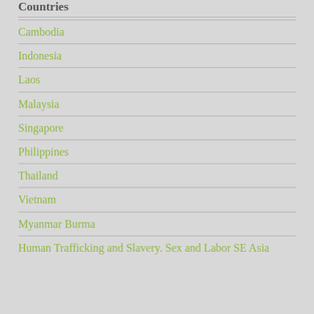Countries
Cambodia
Indonesia
Laos
Malaysia
Singapore
Philippines
Thailand
Vietnam
Myanmar Burma
Human Trafficking and Slavery. Sex and Labor SE Asia